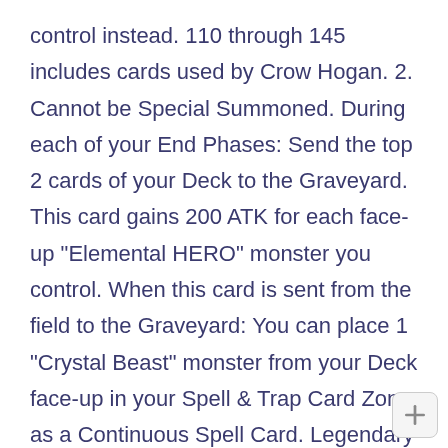control instead. 110 through 145 includes cards used by Crow Hogan. 2. Cannot be Special Summoned. During each of your End Phases: Send the top 2 cards of your Deck to the Graveyard. This card gains 200 ATK for each face-up "Elemental HERO" monster you control. When this card is sent from the field to the Graveyard: You can place 1 "Crystal Beast" monster from your Deck face-up in your Spell & Trap Card Zone as a Continuous Spell Card. Legendary Collection 2 Mega-Pack set list [ edit ] Cannot be Normal Summoned or Set. During your Standby Phase, if this card was destroyed since your last Standby Phase: You can Special Summon 2 "Double Dude Tokens" (Warrior-Type/DARK/Level 4/ATK 1000/DEF 1000). Dur each of your End Phases: Send the top 4 cards of your